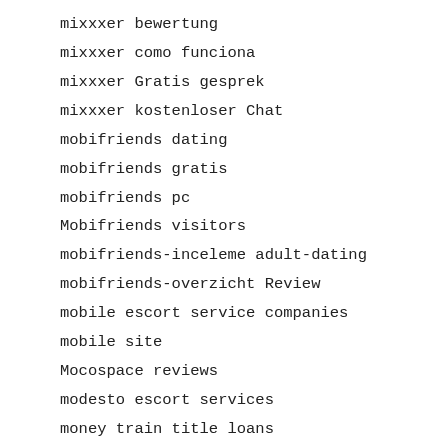mixxxer bewertung
mixxxer como funciona
mixxxer Gratis gesprek
mixxxer kostenloser Chat
mobifriends dating
mobifriends gratis
mobifriends pc
Mobifriends visitors
mobifriends-inceleme adult-dating
mobifriends-overzicht Review
mobile escort service companies
mobile site
Mocospace reviews
modesto escort services
money train title loans
Montana installment loan
Montana payday loans
montana-dating reviews